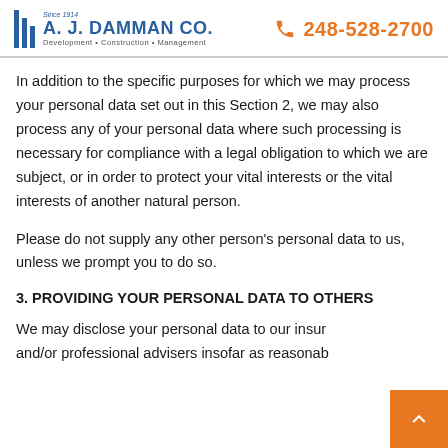A. J. DAMMAN CO. | Since 1914 | Development · Construction · Management | 248-528-2700
In addition to the specific purposes for which we may process your personal data set out in this Section 2, we may also process any of your personal data where such processing is necessary for compliance with a legal obligation to which we are subject, or in order to protect your vital interests or the vital interests of another natural person.
Please do not supply any other person's personal data to us, unless we prompt you to do so.
3. PROVIDING YOUR PERSONAL DATA TO OTHERS
We may disclose your personal data to our insur and/or professional advisers insofar as reasonab